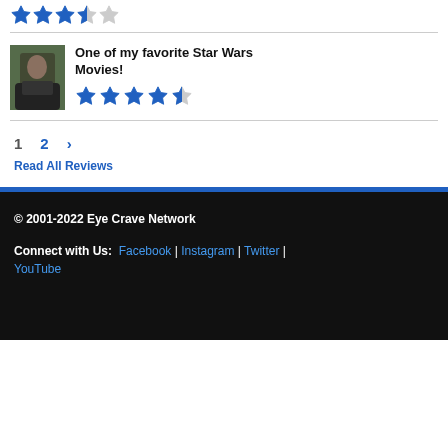[Figure (other): Star rating row showing 3.5 out of 5 stars (top review)]
[Figure (photo): Movie still thumbnail of a person in dark clothing]
One of my favorite Star Wars Movies!
[Figure (other): Star rating row showing 4.5 out of 5 stars]
1  2  >
Read All Reviews
© 2001-2022 Eye Crave Network
Connect with Us: Facebook | Instagram | Twitter | YouTube